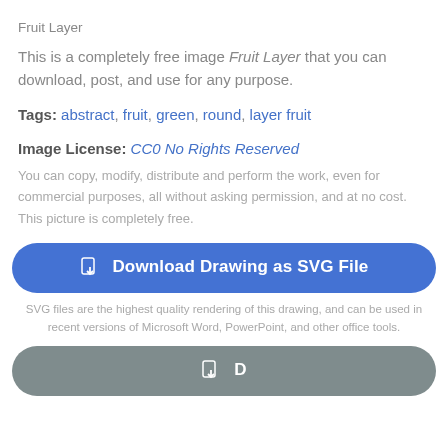Fruit Layer
This is a completely free image Fruit Layer that you can download, post, and use for any purpose.
Tags: abstract, fruit, green, round, layer fruit
Image License: CC0 No Rights Reserved
You can copy, modify, distribute and perform the work, even for commercial purposes, all without asking permission, and at no cost. This picture is completely free.
Download Drawing as SVG File
SVG files are the highest quality rendering of this drawing, and can be used in recent versions of Microsoft Word, PowerPoint, and other office tools.
Download as PNG File